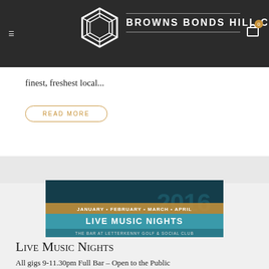BROWNS BONDS HILL COLLECTION
finest, freshest local...
READ MORE
[Figure (photo): Live Music Nights 2016 event banner for January, February, March, April at The Bar at Letterkenny Golf & Social Club]
Live Music Nights
All gigs 9-11.30pm Full Bar – Open to the Public